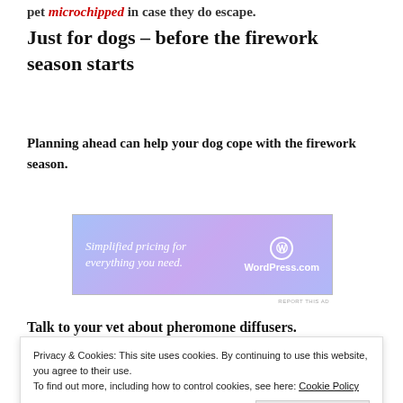pet microchipped in case they do escape.
Just for dogs – before the firework season starts
Planning ahead can help your dog cope with the firework season.
[Figure (screenshot): WordPress.com advertisement banner: 'Simplified pricing for everything you need.' with WordPress logo]
REPORT THIS AD
Talk to your vet about pheromone diffusers.
Privacy & Cookies: This site uses cookies. By continuing to use this website, you agree to their use. To find out more, including how to control cookies, see here: Cookie Policy
Close and accept
used in conjunction with behavioural therapy